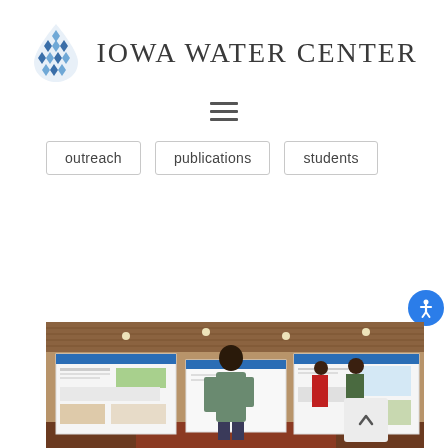[Figure (logo): Iowa Water Center logo with a blue water-drop diamond pattern icon and the text IOWA WATER CENTER in serif uppercase letters]
[Figure (other): Hamburger menu icon (three horizontal lines)]
outreach
publications
students
[Figure (photo): Indoor poster session at the Iowa Water Center: several students and attendees standing near large research poster boards in a building with a wood-paneled ceiling. A smiling woman in the foreground, people conversing in the background.]
[Figure (other): Blue circular accessibility icon button in the bottom right corner]